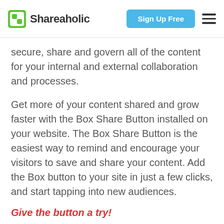Shareaholic | Sign Up Free
secure, share and govern all of the content for your internal and external collaboration and processes.
Get more of your content shared and grow faster with the Box Share Button installed on your website. The Box Share Button is the easiest way to remind and encourage your visitors to save and share your content. Add the Box button to your site in just a few clicks, and start tapping into new audiences.
Give the button a try!